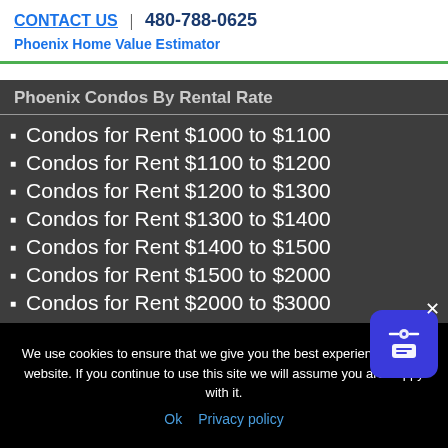CONTACT US | 480-788-0625
Phoenix Home Value Estimator
Phoenix Condos By Rental Rate
Condos for Rent $1000 to $1100
Condos for Rent $1100 to $1200
Condos for Rent $1200 to $1300
Condos for Rent $1300 to $1400
Condos for Rent $1400 to $1500
Condos for Rent $1500 to $2000
Condos for Rent $2000 to $3000
Condos for Rent $3000 to $5000
Condos for Rent Over $5000
We use cookies to ensure that we give you the best experience on our website. If you continue to use this site we will assume you are happy with it.
Ok  Privacy policy